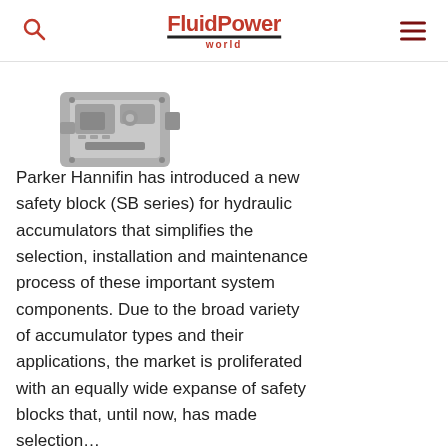FluidPower world
[Figure (photo): Partial view of a Parker Hannifin safety block (SB series) hydraulic accumulator component, metallic gray color]
Parker Hannifin has introduced a new safety block (SB series) for hydraulic accumulators that simplifies the selection, installation and maintenance process of these important system components. Due to the broad variety of accumulator types and their applications, the market is proliferated with an equally wide expanse of safety blocks that, until now, has made selection…